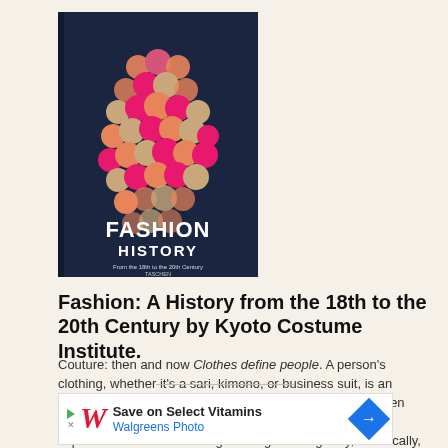[Figure (photo): Book cover of 'Fashion History from the 18th to the 20th Century' by Kyoto Costume Institute, published by Taschen. Dark navy background with colorful pink, gold, and cream circular disc/sequin dress on the cover.]
Fashion: A History from the 18th to the 20th Century by Kyoto Costume Institute.
Couture: then and now Clothes define people. A person's clothing, whether it's a sari, kimono, or business suit, is an essential key to his or her culture, class, personality, or even religion. The Kyoto Costume Institute recognizes the importance of understanding clothing sociologically, historically, and artistically.
[Figure (other): Advertisement for Walgreens Photo: Save on Select Vitamins]